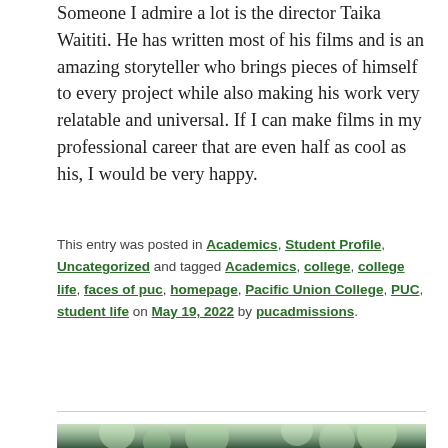Someone I admire a lot is the director Taika Waititi. He has written most of his films and is an amazing storyteller who brings pieces of himself to every project while also making his work very relatable and universal. If I can make films in my professional career that are even half as cool as his, I would be very happy.
This entry was posted in Academics, Student Profile, Uncategorized and tagged Academics, college, college life, faces of puc, homepage, Pacific Union College, PUC, student life on May 19, 2022 by pucadmissions.
[Figure (photo): Outdoor photo of a person, partially visible at bottom of page, with blurred green foliage bokeh background]